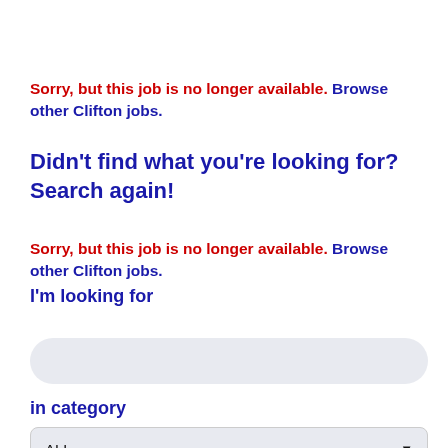Sorry, but this job is no longer available. Browse other Clifton jobs.
Didn't find what you're looking for? Search again!
Sorry, but this job is no longer available. Browse other Clifton jobs.
I'm looking for
[Figure (other): Search text input field, rounded rectangle with light blue-gray background]
in category
[Figure (other): Dropdown select field showing ALL with a down arrow, light blue-gray background]
within